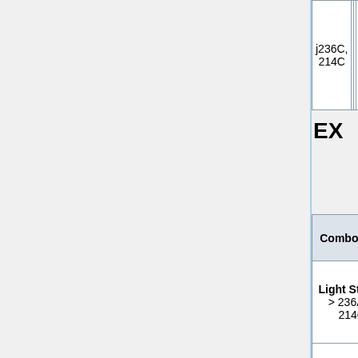| Combo | Damage | Stun | Meter cost |
| --- | --- | --- | --- |
| j236C, 214C |  |  |  |
| Light Starter > 236AC, 214C | 183 | 120 | 0.5 |
| Light Starter/Heavy Starter > 623AC, 623C, 214C | 260/346 | 200/260 | 0.5 |
|  |  |  |  |
EX
| Combo | Damage | Stun | Meter cost |
| --- | --- | --- | --- |
| Light Starter > 236AC, 214C | 183 | 120 | 0.5 |
| Light Starter/Heavy Starter > 623AC, 623C, 214C | 260/346 | 200/260 | 0.5 |